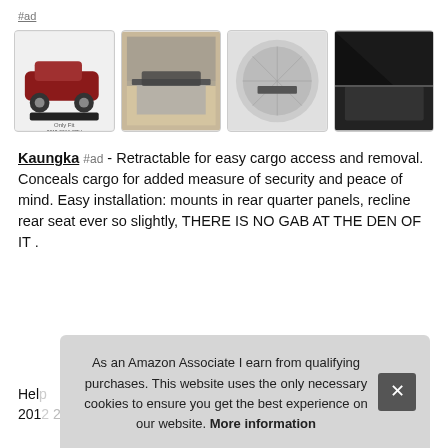#ad
[Figure (photo): Four product images of a retractable cargo cover for Honda CR-V shown from different angles]
Kaungka #ad - Retractable for easy cargo access and removal. Conceals cargo for added measure of security and peace of mind. Easy installation: mounts in rear quarter panels, recline rear seat ever so slightly, THERE IS NO GAB AT THE DEN OF IT .
Help ... 2012 2013 Honda CRV as an Accessory fit for 2017...